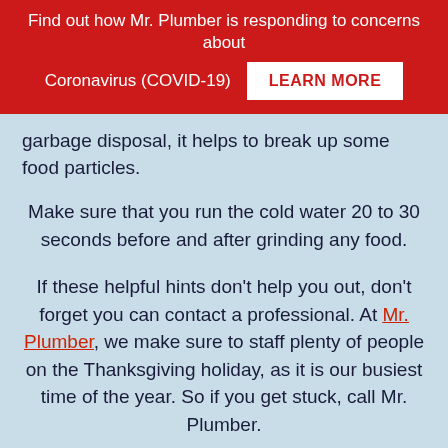Find out how Mr. Plumber is responding to concerns about Coronavirus (COVID-19) LEARN MORE
garbage disposal, it helps to break up some food particles.
Make sure that you run the cold water 20 to 30 seconds before and after grinding any food.
If these helpful hints don't help you out, don't forget you can contact a professional. At Mr. Plumber, we make sure to staff plenty of people on the Thanksgiving holiday, as it is our busiest time of the year. So if you get stuck, call Mr. Plumber.
[Figure (screenshot): YouTube video thumbnail for 'Common Thanksgiving Plu...' with Mr. Plumber logo, playlist and more options icons]